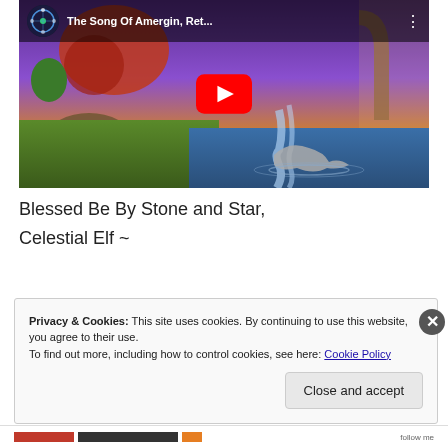[Figure (screenshot): YouTube video thumbnail showing a fantasy landscape with purple sky, colorful trees, a waterfall, and a dolphin leaping. The video title reads 'The Song Of Amergin, Ret...' with a YouTube play button overlay and channel icon.]
Blessed Be By Stone and Star,
Celestial Elf ~
Privacy & Cookies: This site uses cookies. By continuing to use this website, you agree to their use.
To find out more, including how to control cookies, see here: Cookie Policy
Close and accept